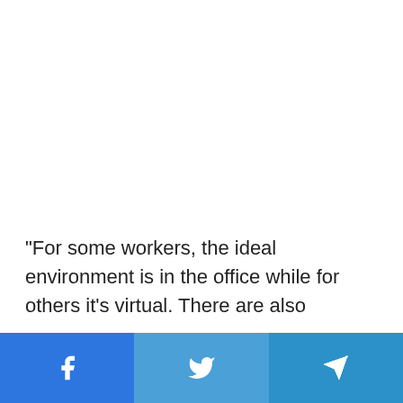“For some workers, the ideal environment is in the office while for others it’s virtual. There are also
[Figure (other): Social media share buttons bar at the bottom: Facebook (blue), Twitter (light blue), Telegram (medium blue), each with white icons]